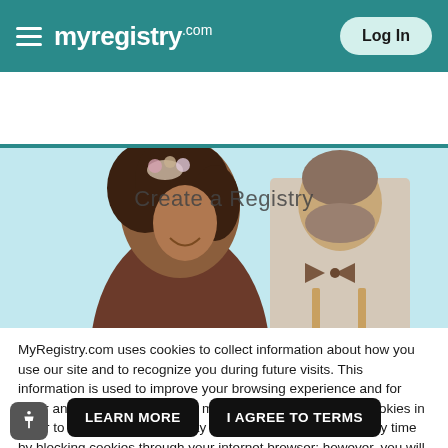myregistry.com | Log In
[Figure (screenshot): Search bar with 'Find a Registry' placeholder and teal search icon]
[Figure (photo): Hero image of smiling couple, woman with flower crown, man in bow tie and suspenders, with 'Create a Registry' text overlay]
MyRegistry.com uses cookies to collect information about how you use our site and to recognize you during future visits. This information is used to improve your browsing experience and for other analytical purposes. You must consent to our use of cookies in order to enter our site. You may withdraw such consent at any time by blocking cookies through your internet browser; however, you will no longer have access to our site.
LEARN MORE | I AGREE TO TERMS